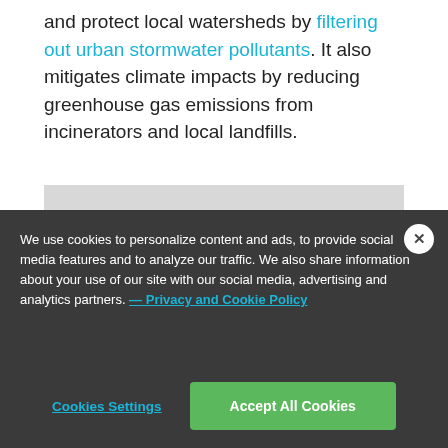and protect local watersheds by filtering out urban stormwater pollutants. It also mitigates climate impacts by reducing greenhouse gas emissions from incinerators and local landfills.
[Figure (photo): Partial photo showing a grey background with the top portion of what appears to be a dark circular object or camera lens visible at lower left.]
We use cookies to personalize content and ads, to provide social media features and to analyze our traffic. We also share information about your use of our site with our social media, advertising and analytics partners. — Privacy and Cookie Policy